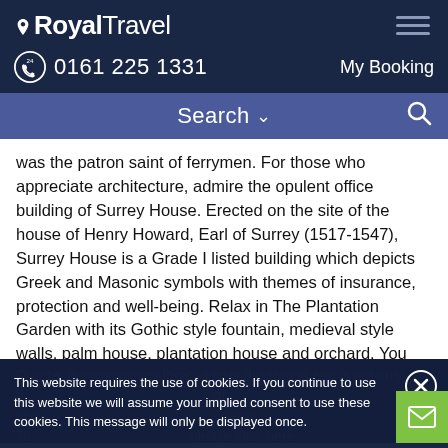[Figure (logo): Royal Travel logo with location pin icon and text]
0161 225 1331
My Booking
Search
was the patron saint of ferrymen. For those who appreciate architecture, admire the opulent office building of Surrey House. Erected on the site of the house of Henry Howard, Earl of Surrey (1517-1547), Surrey House is a Grade I listed building which depicts Greek and Masonic symbols with themes of insurance, protection and well-being. Relax in The Plantation Garden with its Gothic style fountain, medieval style walls, palm house, plantation house and orchard. You won't be short of choice during the evening as Norwich has a vibrant and varied nightlife. The Riverside
Quarter is conveniently located near the station and is not only b... also... To... please click here.
This website requires the use of cookies. If you continue to use this website we will assume your implied consent to use these cookies. This message will only be displayed once.